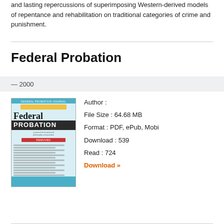and lasting repercussions of superimposing Western-derived models of repentance and rehabilitation on traditional categories of crime and punishment.
Federal Probation
— 2000
[Figure (illustration): Book cover of Federal Probation journal, year 2000 edition, teal/blue cover with bold title text]
Author :
File Size : 64.68 MB
Format : PDF, ePub, Mobi
Download : 539
Read : 724
Download »